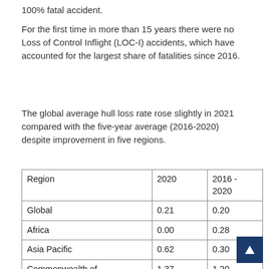100% fatal accident.
For the first time in more than 15 years there were no Loss of Control Inflight (LOC-I) accidents, which have accounted for the largest share of fatalities since 2016.
The global average hull loss rate rose slightly in 2021 compared with the five-year average (2016-2020) despite improvement in five regions.
| Region | 2020 | 2016 - 2020 |
| --- | --- | --- |
| Global | 0.21 | 0.20 |
| Africa | 0.00 | 0.28 |
| Asia Pacific | 0.62 | 0.30 |
| Commonwealth of Independent States (CIS) | 1.37 | 1.20 |
| Europe | 0.31 | 0.14 |